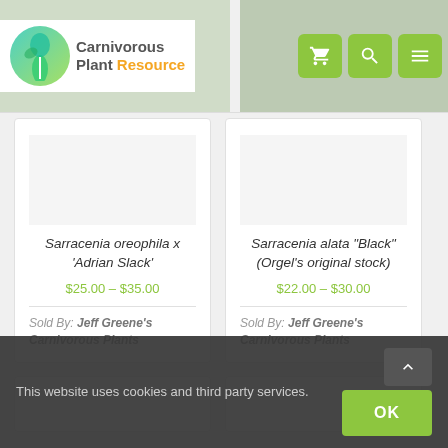[Figure (logo): Carnivorous Plant Resource logo with teal circular icon and text]
Sarracenia oreophila x 'Adrian Slack'
$25.00 – $35.00
Sold By: Jeff Greene's Carnivorous Plants
Sarracenia alata "Black" (Orgel's original stock)
$22.00 – $30.00
Sold By: Jeff Greene's Carnivorous Plants
This website uses cookies and third party services.